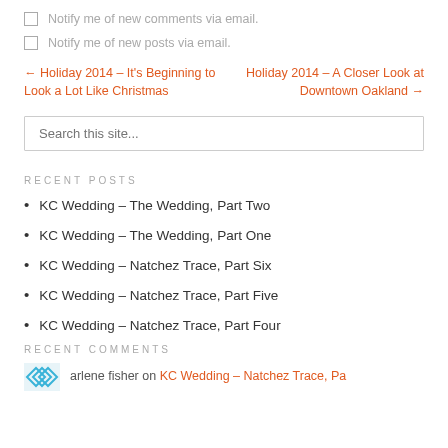Notify me of new comments via email.
Notify me of new posts via email.
← Holiday 2014 – It's Beginning to Look a Lot Like Christmas    Holiday 2014 – A Closer Look at Downtown Oakland →
Search this site...
RECENT POSTS
KC Wedding – The Wedding, Part Two
KC Wedding – The Wedding, Part One
KC Wedding – Natchez Trace, Part Six
KC Wedding – Natchez Trace, Part Five
KC Wedding – Natchez Trace, Part Four
RECENT COMMENTS
arlene fisher on KC Wedding – Natchez Trace, Pa